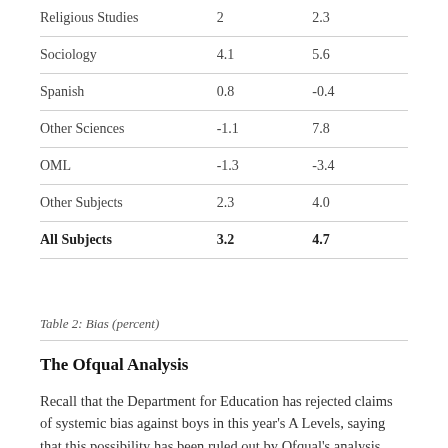| Religious Studies | 2 | 2.3 |
| Sociology | 4.1 | 5.6 |
| Spanish | 0.8 | -0.4 |
| Other Sciences | -1.1 | 7.8 |
| OML | -1.3 | -3.4 |
| Other Subjects | 2.3 | 4.0 |
| All Subjects | 3.2 | 4.7 |
Table 2: Bias (percent)
The Ofqual Analysis
Recall that the Department for Education has rejected claims of systemic bias against boys in this year's A Levels, saying that this possibility has been ruled out by Ofqual's analysis